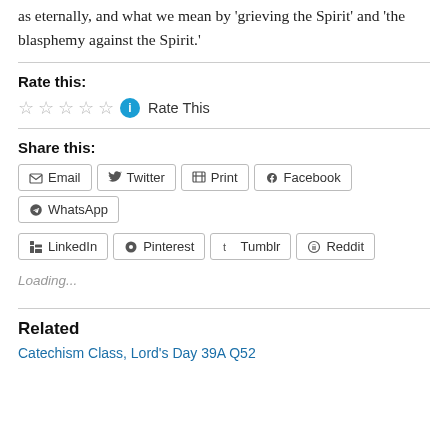as eternally, and what we mean by 'grieving the Spirit' and 'the blasphemy against the Spirit.'
Rate this:
★★★★★ ℹ Rate This
Share this:
Email
Twitter
Print
Facebook
WhatsApp
LinkedIn
Pinterest
Tumblr
Reddit
Loading...
Related
Catechism Class, Lord's Day 39A Q52